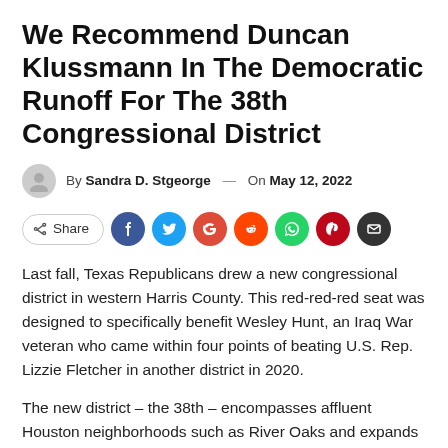We Recommend Duncan Klussmann In The Democratic Runoff For The 38th Congressional District
By Sandra D. Stgeorge — On May 12, 2022
Last fall, Texas Republicans drew a new congressional district in western Harris County. This red-red-red seat was designed to specifically benefit Wesley Hunt, an Iraq War veteran who came within four points of beating U.S. Rep. Lizzie Fletcher in another district in 2020.
The new district – the 38th – encompasses affluent Houston neighborhoods such as River Oaks and expands into conservative neighborhoods such as Tomball and Cypress. Hunt, who won the Republican primary, will be tough to beat. He has